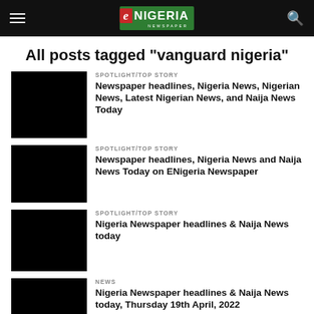eNIGERIA NEWSPAPER
All posts tagged "vanguard nigeria"
SPOTLIGHT/TOP STORY — Newspaper headlines, Nigeria News, Nigerian News, Latest Nigerian News, and Naija News Today
SPOTLIGHT/TOP STORY — Newspaper headlines, Nigeria News and Naija News Today on ENigeria Newspaper
SPOTLIGHT/TOP STORY — Nigeria Newspaper headlines & Naija News today
NEWS — Nigeria Newspaper headlines & Naija News today, Thursday 19th April, 2022